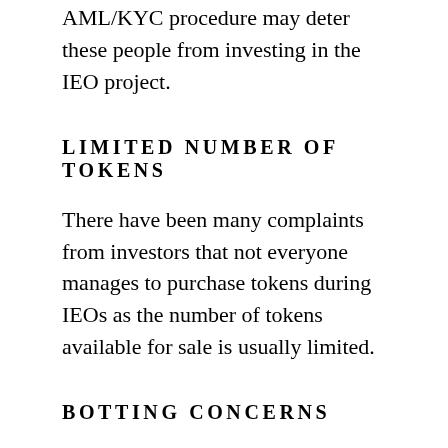AML/KYC procedure may deter these people from investing in the IEO project.
LIMITED NUMBER OF TOKENS
There have been many complaints from investors that not everyone manages to purchase tokens during IEOs as the number of tokens available for sale is usually limited.
BOTTING CONCERNS
Using bots for trading and investing is ubiquitous nowadays. In the crypto space, there are concerns about bots that can be